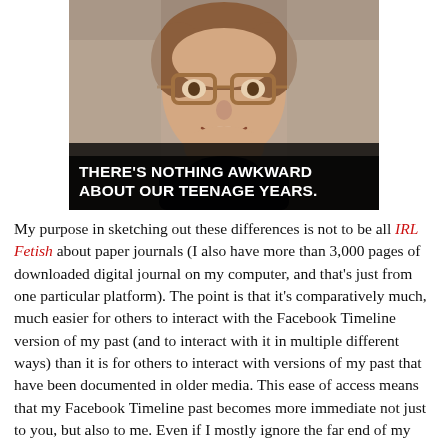[Figure (photo): Vintage school photo of a young boy (teenager) with brown oversized glasses and a turtleneck sweater, smiling at the camera. Dark overlay at the bottom of the image contains bold white text reading: THERE'S NOTHING AWKWARD ABOUT OUR TEENAGE YEARS.]
My purpose in sketching out these differences is not to be all IRL Fetish about paper journals (I also have more than 3,000 pages of downloaded digital journal on my computer, and that's just from one particular platform). The point is that it's comparatively much, much easier for others to interact with the Facebook Timeline version of my past (and to interact with it in multiple different ways) than it is for others to interact with versions of my past that have been documented in older media. This ease of access means that my Facebook Timeline past becomes more immediate not just to you, but also to me. Even if I mostly ignore the far end of my